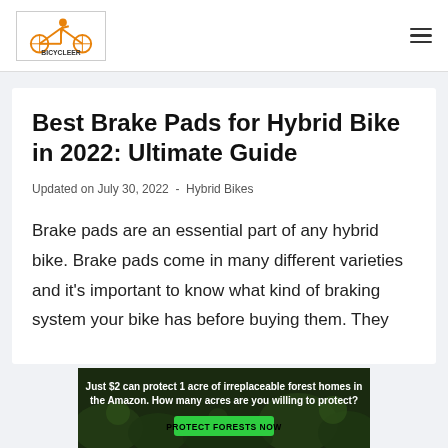[Figure (logo): Bicycleer logo — orange bicycle icon with rider, text BICYCLEER below, inside a white bordered box]
Navigation bar with Bicycleer logo and hamburger menu
Best Brake Pads for Hybrid Bike in 2022: Ultimate Guide
Updated on July 30, 2022  -  Hybrid Bikes
Brake pads are an essential part of any hybrid bike. Brake pads come in many different varieties and it's important to know what kind of braking system your bike has before buying them. They
[Figure (other): Advertisement banner: 'Just $2 can protect 1 acre of irreplaceable forest homes in the Amazon. How many acres are you willing to protect?' with green PROTECT FORESTS NOW button, dark forest background]